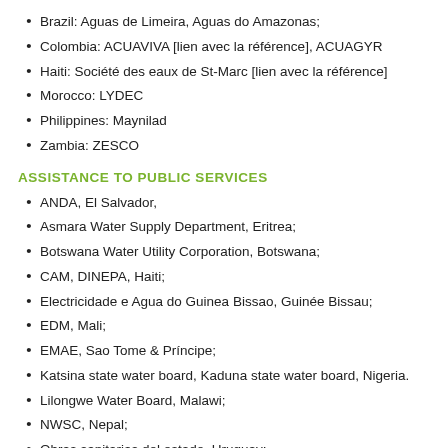Brazil: Aguas de Limeira, Aguas do Amazonas;
Colombia: ACUAVIVA [lien avec la référence], ACUAGYR
Haiti: Société des eaux de St-Marc [lien avec la référence]
Morocco: LYDEC
Philippines: Maynilad
Zambia: ZESCO
ASSISTANCE TO PUBLIC SERVICES
ANDA, El Salvador,
Asmara Water Supply Department, Eritrea;
Botswana Water Utility Corporation, Botswana;
CAM, DINEPA, Haiti;
Electricidade e Agua do Guinea Bissao, Guinée Bissau;
EDM, Mali;
EMAE, Sao Tome & Príncipe;
Katsina state water board, Kaduna state water board, Nigeria.
Lilongwe Water Board, Malawi;
NWSC, Nepal;
Obras sanitarias del estado, Uruguay;
ONEA, Burkina Faso;
Pan Jaya Jakarta, Indonesia;
RAR, Morocco;